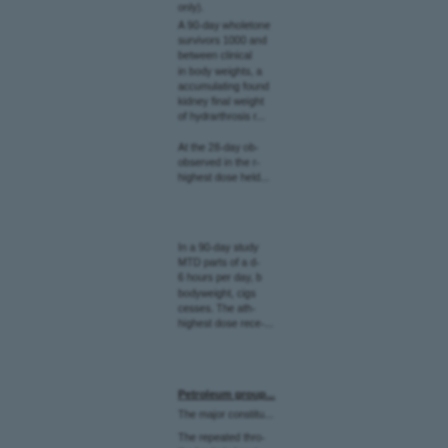only).
A 90-day wholetone survivors 1000 and between clinical in body weights, accumulating found kidney final weight of hydrarthrosis ...
At the 28-day observation the highest dose held...
In a 90-day study MTD parts of a 6 hours per day, bodyweight, appearance. The highest dose received...
Petroleum group
The major constituents
The repeated the the basis in heart...